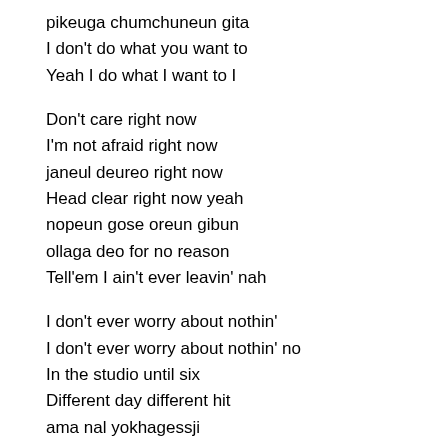pikeuga chumchuneun gita
I don't do what you want to
Yeah I do what I want to I

Don't care right now
I'm not afraid right now
janeul deureo right now
Head clear right now yeah
nopeun gose oreun gibun
ollaga deo for no reason
Tell'em I ain't ever leavin' nah

I don't ever worry about nothin'
I don't ever worry about nothin' no
In the studio until six
Different day different hit
ama nal yokhagessji